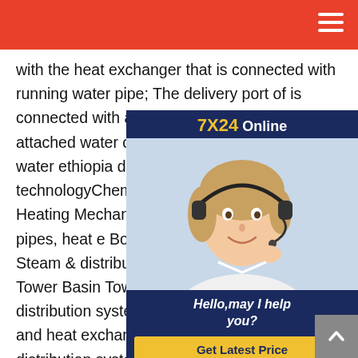7X24 Online
with the heat exchanger that is connected with running water pipe; The delivery port of is connected with an attached water co port of attached water case is connecte heat storage water ethiopia double tan circulation system technologyChemical water for Cooling and Heating Mechani Heating Loop Boiler tubes, pipes, heat e Boiler internals, barrels, girder Steam & distribution system Cooling Loop Tower Basin Tower Internal filling Tower distribution system Pumps Chiller tubes, pipes and heat exchangers condensers Chilled water distribution systemDHW systems IS-Energy Energias RenováveisThis forced circulation system is a compact, robust and aesthetic solution to produce
[Figure (photo): Customer service agent (woman with headset) in a chat/support widget with dark blue background, '7X24 Online' header in yellow and white, 'Hello, may I help you?' text, and 'Get Latest Price' yellow button]